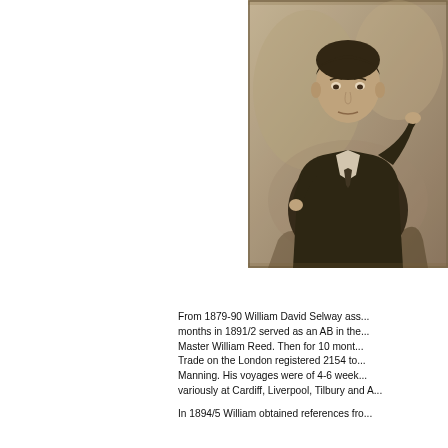[Figure (photo): Sepia-toned portrait photograph of a young man in a dark jacket, seated, looking at the camera. Victorian-era style photograph.]
From 1879-90 William David Selway ass... months in 1891/2 served as an AB in the... Master William Reed. Then for 10 mont... Trade on the London registered 2154 to... Manning. His voyages were of 4-6 week... variously at Cardiff, Liverpool, Tilbury and A...
In 1894/5 William obtained references fro...